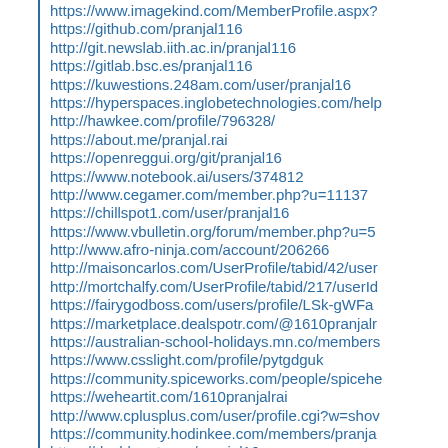https://www.imagekind.com/MemberProfile.aspx?
https://github.com/pranjal116
http://git.newslab.iith.ac.in/pranjal116
https://gitlab.bsc.es/pranjal116
https://kuwestions.248am.com/user/pranjal16
https://hyperspaces.inglobetechnologies.com/help
http://hawkee.com/profile/796328/
https://about.me/pranjal.rai
https://openreggui.org/git/pranjal16
https://www.notebook.ai/users/374812
http://www.cegamer.com/member.php?u=11137
https://chillspot1.com/user/pranjal16
https://www.vbulletin.org/forum/member.php?u=5
http://www.afro-ninja.com/account/206266
http://maisoncarlos.com/UserProfile/tabid/42/user
http://mortchalfy.com/UserProfile/tabid/217/userId
https://fairygodboss.com/users/profile/LSk-gWFa
https://marketplace.dealspotr.com/@1610pranjalr
https://australian-school-holidays.mn.co/members
https://www.csslight.com/profile/pytgdguk
https://community.spiceworks.com/people/spicehe
https://weheartit.com/1610pranjalrai
http://www.cplusplus.com/user/profile.cgi?w=shov
https://community.hodinkee.com/members/pranja
https://dashburst.com/pranjal16